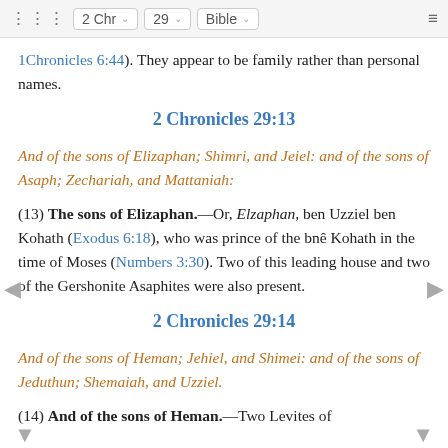⠿  2 Chr ∨  29 ∨  Bible ∨  ≡
1Chronicles 6:44). They appear to be family rather than personal names.
2 Chronicles 29:13
And of the sons of Elizaphan; Shimri, and Jeiel: and of the sons of Asaph; Zechariah, and Mattaniah:
(13) The sons of Elizaphan.—Or, Elzaphan, ben Uzziel ben Kohath (Exodus 6:18), who was prince of the bnê Kohath in the time of Moses (Numbers 3:30). Two of this leading house and two of the Gershonite Asaphites were also present.
2 Chronicles 29:14
And of the sons of Heman; Jehiel, and Shimei: and of the sons of Jeduthun; Shemaiah, and Uzziel.
(14) And of the sons of Heman.—Two Levites of